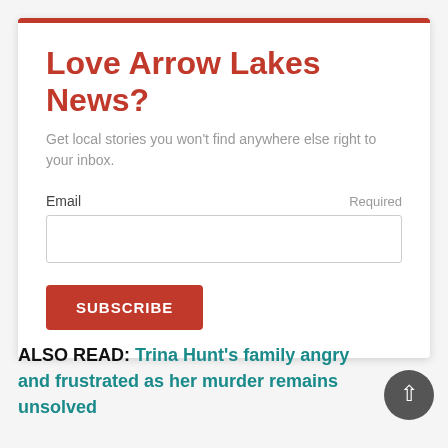Love Arrow Lakes News?
Get local stories you won't find anywhere else right to your inbox.
Email  Required
SUBSCRIBE
ALSO READ: Trina Hunt's family angry and frustrated as her murder remains unsolved